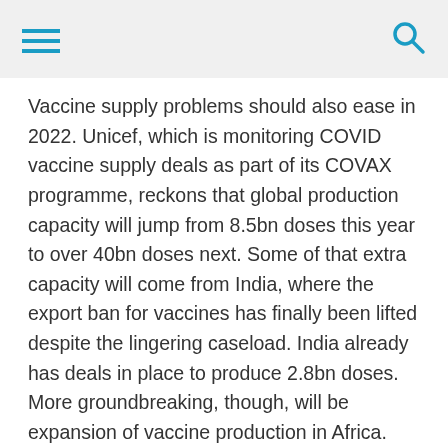[Navigation header with hamburger menu and search icon]
Vaccine supply problems should also ease in 2022. Unicef, which is monitoring COVID vaccine supply deals as part of its COVAX programme, reckons that global production capacity will jump from 8.5bn doses this year to over 40bn doses next. Some of that extra capacity will come from India, where the export ban for vaccines has finally been lifted despite the lingering caseload. India already has deals in place to produce 2.8bn doses. More groundbreaking, though, will be expansion of vaccine production in Africa.
From late 2022 the Pasteur institute of Dakar